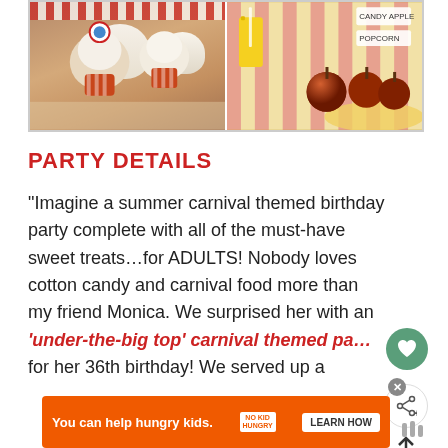[Figure (photo): Two food photos side by side: left shows carnival cupcakes with white frosting and red/white striped liners; right shows candy apples and carnival snacks with red/white striped backdrop and a yellow drink cup]
PARTY DETAILS
“Imagine a summer carnival themed birthday party complete with all of the must-have sweet treats…for ADULTS!  Nobody loves cotton candy and carnival food more than my friend Monica.  We surprised her with an ‘under-the-big top’ carnival themed party for her 36th birthday!  We served up a s...
[Figure (screenshot): Orange ad banner: 'You can help hungry kids.' with No Kid Hungry logo and LEARN HOW button]